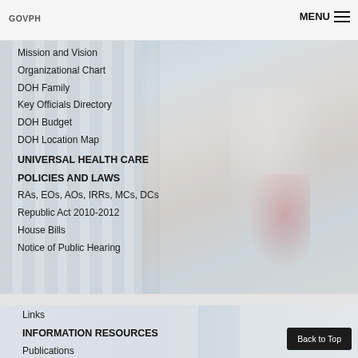GOVPH | MENU
Mission and Vision
Organizational Chart
DOH Family
Key Officials Directory
DOH Budget
DOH Location Map
UNIVERSAL HEALTH CARE
POLICIES AND LAWS
RAs, EOs, AOs, IRRs, MCs, DCs
Republic Act 2010-2012
House Bills
Notice of Public Hearing
[Figure (photo): Blurred background photo of smiling female doctor/nurse in white coat with red stethoscope, and building in background]
Links
INFORMATION RESOURCES
Publications
Libraries and Resource Centers
Learning Packages
SECRETARY'S CORNER